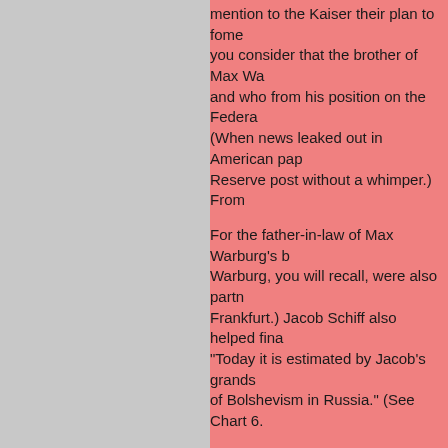mention to the Kaiser their plan to fome... you consider that the brother of Max Wa... and who from his position on the Federa... (When news leaked out in American pap... Reserve post without a whimper.) From...
For the father-in-law of Max Warburg's b... Warburg, you will recall, were also partn... Frankfurt.) Jacob Schiff also helped fina... "Today it is estimated by Jacob's grands... of Bolshevism in Russia." (See Chart 6.
One of the best sources of information o... important White Russian General name... Peoples. In this volume, written in Frenc...
"The main purveyors of funds for... armed bandits of Lenin. The 'real'... long time past had lent their supp...
De Goulevitch continues:
"The important part played by the... only partially revealed, is no longe...
General Alexander Nechvolodov is quot...
"In April 1917, Jacob Schiff public... Russia had succeeded.